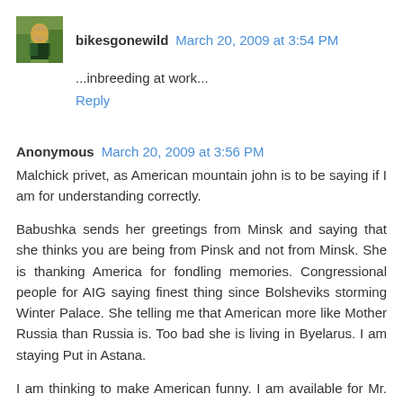[Figure (photo): Small avatar image of a person in yellow/green outdoors]
bikesgonewild  March 20, 2009 at 3:54 PM
...inbreeding at work...
Reply
Anonymous  March 20, 2009 at 3:56 PM
Malchick privet, as American mountain john is to be saying if I am for understanding correctly.
Babushka sends her greetings from Minsk and saying that she thinks you are being from Pinsk and not from Minsk. She is thanking America for fondling memories. Congressional people for AIG saying finest thing since Bolsheviks storming Winter Palace. She telling me that American more like Mother Russia than Russia is. Too bad she is living in Byelarus. I am staying Put in Astana.
I am thinking to make American funny. I am available for Mr. Leno mozhetbeets.